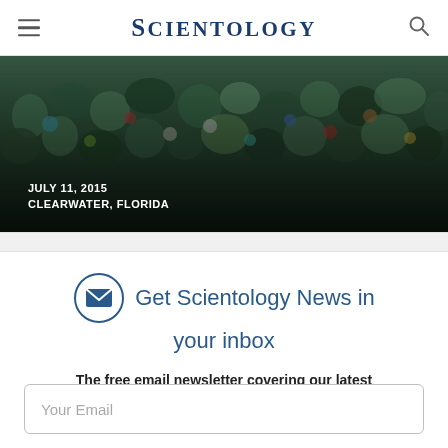Scientology
[Figure (photo): Aerial or elevated view of a large crowd of people outdoors, overlaid with text 'JULY 11, 2015 / CLEARWATER, FLORIDA']
JULY 11, 2015
CLEARWATER, FLORIDA
Get Scientology News in your inbox
The free email newsletter covering our latest news and updates